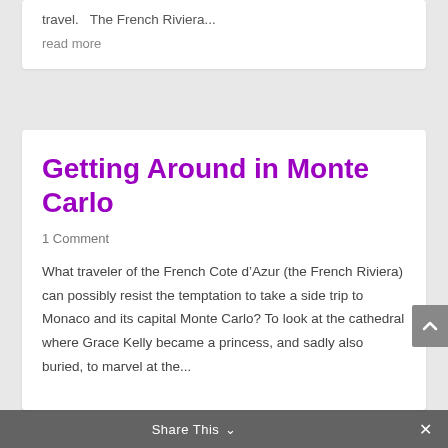travel.   The French Riviera...
read more
Getting Around in Monte Carlo
1 Comment
What traveler of the French Cote d'Azur (the French Riviera) can possibly resist the temptation to take a side trip to Monaco and its capital Monte Carlo? To look at the cathedral where Grace Kelly became a princess, and sadly also buried, to marvel at the...
Share This